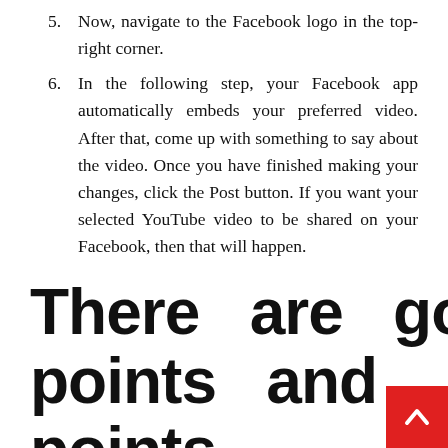5. Now, navigate to the Facebook logo in the top-right corner.
6. In the following step, your Facebook app automatically embeds your preferred video. After that, come up with something to say about the video. Once you have finished making your changes, click the Post button. If you want your selected YouTube video to be shared on your Facebook, then that will happen.
There are good points and bad points about Embedding